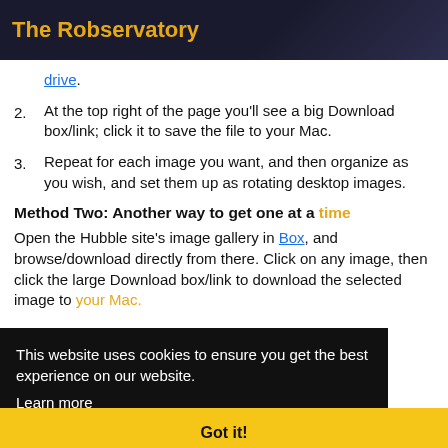The Robservatory
drive.
At the top right of the page you'll see a big Download box/link; click it to save the file to your Mac.
Repeat for each image you want, and then organize as you wish, and set them up as rotating desktop images.
Method Two: Another way to get one at a time
Open the Hubble site's image gallery in Box, and browse/download directly from there. Click on any image, then click the large Download box/link to download the selected image to your Mac.
This website uses cookies to ensure you get the best experience on our website. Learn more
Got it!
Method Three: Gimme the full set!
If you want all 54 images, just download this